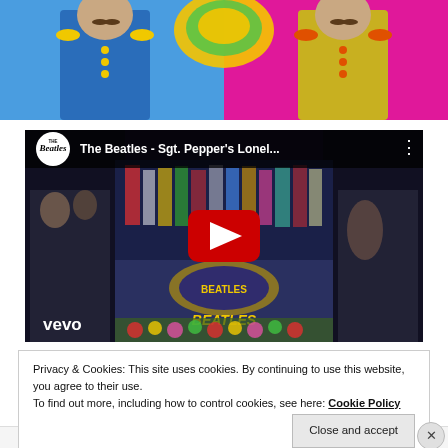[Figure (photo): Partial photo showing two men dressed in Sgt. Pepper-style military costumes, one in blue on the left and one in yellow/green on the right, against a colorful background.]
[Figure (screenshot): YouTube video embed thumbnail showing The Beatles - Sgt. Pepper's Lonel... with the Beatles logo, Vevo branding, and a red play button overlaid on the Sgt. Pepper's Lonely Hearts Club Band album cover.]
Privacy & Cookies: This site uses cookies. By continuing to use this website, you agree to their use.
To find out more, including how to control cookies, see here: Cookie Policy
Close and accept
Advertisements